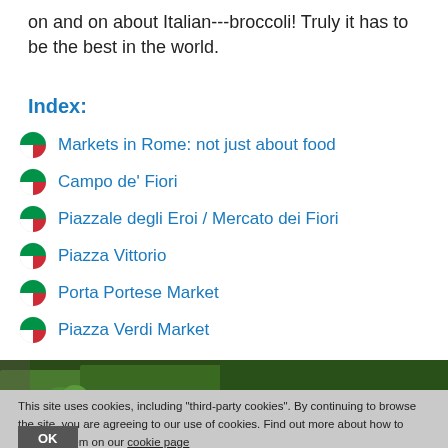on and on about Italian---broccoli! Truly it has to be the best in the world.
Index:
Markets in Rome: not just about food
Campo de' Fiori
Piazzale degli Eroi / Mercato dei Fiori
Piazza Vittorio
Porta Portese Market
Piazza Verdi Market
[Figure (photo): Photo of a market stall with vegetables including broccoli, cauliflower, and tomatoes, with a red Pinterest Save button overlay]
This site uses cookies, including "third-party cookies". By continuing to browse the site, you are agreeing to our use of cookies. Find out more about how to manage them on our cookie page